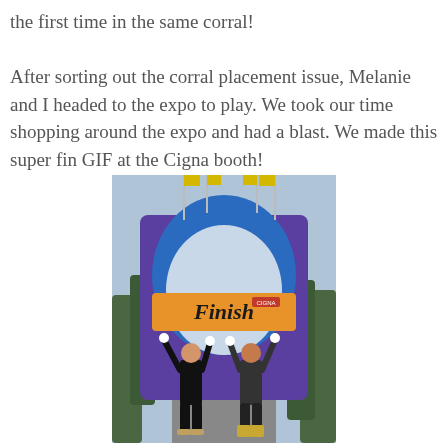the first time in the same corral!

After sorting out the corral placement issue, Melanie and I headed to the expo to play. We took our time shopping around the expo and had a blast. We made this super fin GIF at the Cigna booth!
[Figure (photo): Two women posing with arms raised in front of a Disney-style 'Finish' race arch decorated with colorful banners and flags, with trees in the background.]